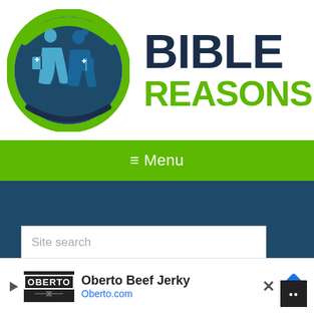[Figure (logo): Bible Reasons logo: circular emblem with two silhouetted figures reading Bibles back-to-back, surrounded by a green arc, next to bold text reading BIBLE REASONS]
≡ Menu
Site search
Oberto Beef Jerky Oberto.com